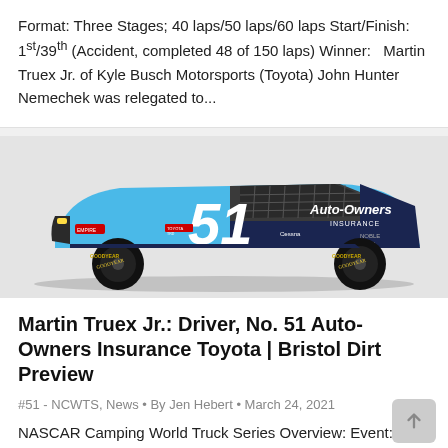Format: Three Stages; 40 laps/50 laps/60 laps Start/Finish: 1st/39th (Accident, completed 48 of 150 laps) Winner:   Martin Truex Jr. of Kyle Busch Motorsports (Toyota) John Hunter Nemechek was relegated to...
[Figure (photo): NASCAR truck number 51 with Auto-Owners Insurance livery in light blue and dark navy colors]
Martin Truex Jr.: Driver, No. 51 Auto-Owners Insurance Toyota | Bristol Dirt Preview
#51 - NCWTS, News • By Jen Hebert • March 24, 2021
NASCAR Camping World Truck Series Overview: Event: